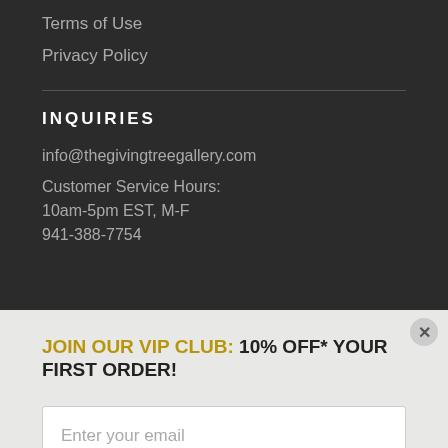Terms of Use
Privacy Policy
INQUIRIES
info@thegivingtreegallery.com
Customer Service Hours:
10am-5pm EST, M-F
941-388-7754
JOIN OUR VIP CLUB: 10% OFF* YOUR FIRST ORDER!
Enter your email
SUBSCRIBE
*Excludes some brands